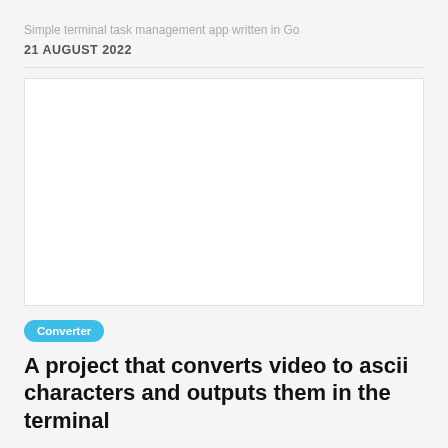Simple terminal task management app written in Go
21 AUGUST 2022
[Figure (other): White blank image placeholder area]
Converter
A project that converts video to ascii characters and outputs them in the terminal